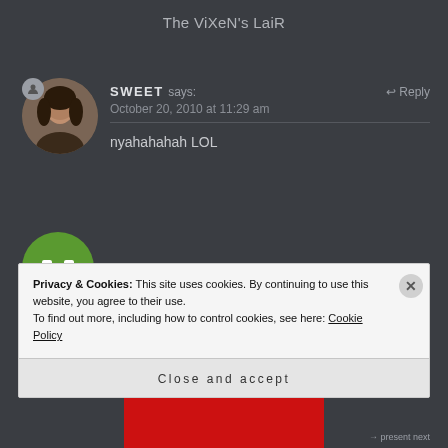The ViXeN's LaiR
[Figure (photo): Circular profile photo of a young woman with dark hair, and a small user/person icon overlay at top-left of the circle]
SWEET says:
Reply
October 20, 2010 at 11:29 am
nyahahahah LOL
[Figure (illustration): Green circular avatar with white icon for MOMDAUGHTERSTYLE commenter]
MOMDAUGHTERSTYLE says: Reply
Privacy & Cookies: This site uses cookies. By continuing to use this website, you agree to their use.
To find out more, including how to control cookies, see here: Cookie Policy
Close and accept